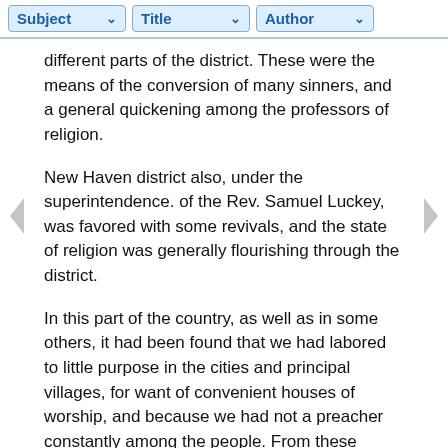Subject | Title | Author
different parts of the district. These were the means of the conversion of many sinners, and a general quickening among the professors of religion.
New Haven district also, under the superintendence. of the Rev. Samuel Luckey, was favored with some revivals, and the state of religion was generally flourishing through the district.
In this part of the country, as well as in some others, it had been found that we had labored to little purpose in the cities and principal villages, for want of convenient houses of worship, and because we had not a preacher constantly among the people. From these defects in our plans of procedure, our societies in New Haven, Middletown, and Hartford, and many other places, had been but feeble, and often the prospects were